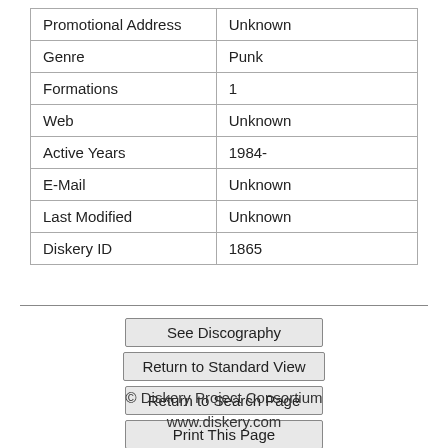| Promotional Address | Unknown |
| Genre | Punk |
| Formations | 1 |
| Web | Unknown |
| Active Years | 1984- |
| E-Mail | Unknown |
| Last Modified | Unknown |
| Diskery ID | 1865 |
See Discography
Return to Standard View
Return to Search Page
Print This Page
© Diskery Project Consortium
www.diskery.com